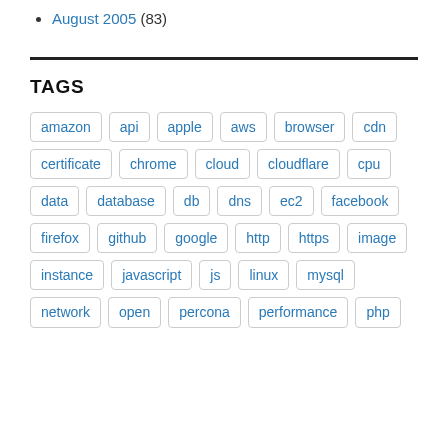August 2005 (83)
TAGS
amazon api apple aws browser cdn certificate chrome cloud cloudflare cpu data database db dns ec2 facebook firefox github google http https image instance javascript js linux mysql network open percona performance php